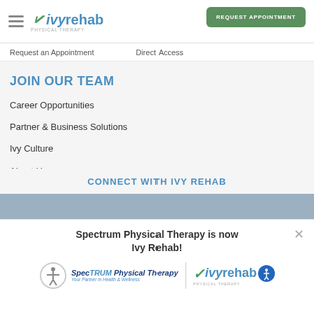Ivy Rehab Physical Therapy — REQUEST APPOINTMENT
Request an Appointment   Direct Access
JOIN OUR TEAM
Career Opportunities
Partner & Business Solutions
Ivy Culture
About Us
Leadership Team
CONNECT WITH IVY REHAB
Spectrum Physical Therapy is now Ivy Rehab!
[Figure (logo): Spectrum Physical Therapy logo and Ivy Rehab Physical Therapy logo side by side with accessibility icons]